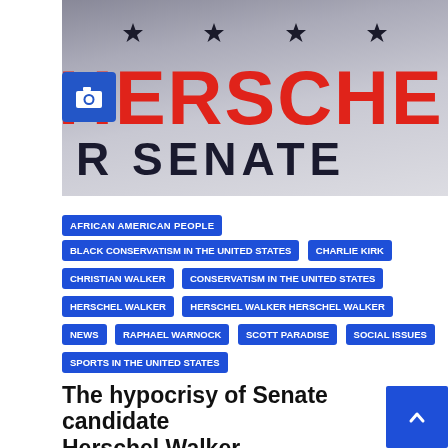[Figure (photo): A photo of a Herschel Walker for Senate campaign sign, showing partial red text 'HERSCHEL' and black text 'FOR SENATE' with stars, and a camera icon overlay]
AFRICAN AMERICAN PEOPLE
BLACK CONSERVATISM IN THE UNITED STATES
CHARLIE KIRK
CHRISTIAN WALKER
CONSERVATISM IN THE UNITED STATES
HERSCHEL WALKER
HERSCHEL WALKER HERSCHEL WALKER
NEWS
RAPHAEL WARNOCK
SCOTT PARADISE
SOCIAL ISSUES
SPORTS IN THE UNITED STATES
The hypocrisy of Senate candidate Herschel Walker